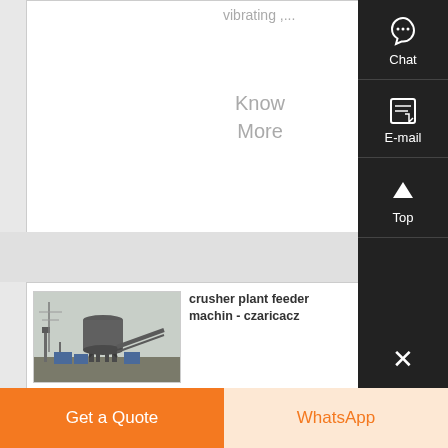vibrating ,...
Know More
[Figure (photo): Industrial crusher plant with a large cylindrical hopper/silo elevated on a steel frame structure, with conveyor equipment and blue containers visible at the base.]
crusher plant feeder machin - czaricacz
K Series Portable Crushing Plant The vibrating feeder can finish the pre-
Get a Quote
WhatsApp